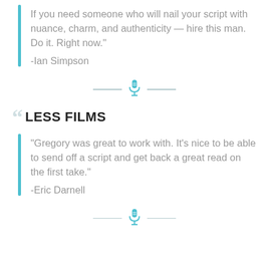“If you need someone who will nail your script with nuance, charm, and authenticity — hire this man. Do it. Right now.”
-Ian Simpson
[Figure (other): Decorative divider with microphone icon and horizontal lines]
LESS FILMS
“Gregory was great to work with. It’s nice to be able to send off a script and get back a great read on the first take.”
-Eric Darnell
[Figure (other): Decorative divider with microphone icon and horizontal lines]